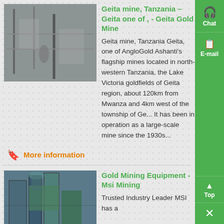Geita mine, Tanzania – Geita one of , - Geita Gold Mine
[Figure (photo): Industrial mining facility in Tanzania, grayscale photo showing pipes and structures]
Geita mine, Tanzania Geita, one of AngloGold Ashanti's flagship mines located in north-western Tanzania, the Lake Victoria goldfields of Geita region, about 120km from Mwanza and 4km west of the township of Ge... It has been in operation as a large-scale mine since the 1930s...
More information
Gold Mining Equipment - Msi Mining
[Figure (photo): Gold mining equipment, industrial machinery with blue and green structures]
Trusted Industry Leader MSI has a